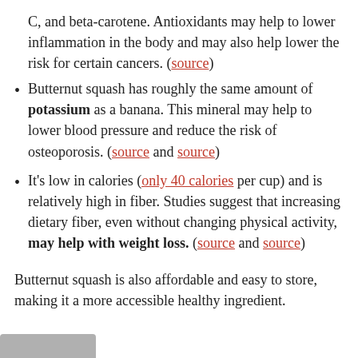C, and beta-carotene. Antioxidants may help to lower inflammation in the body and may also help lower the risk for certain cancers. (source)
Butternut squash has roughly the same amount of potassium as a banana. This mineral may help to lower blood pressure and reduce the risk of osteoporosis. (source and source)
It’s low in calories (only 40 calories per cup) and is relatively high in fiber. Studies suggest that increasing dietary fiber, even without changing physical activity, may help with weight loss. (source and source)
Butternut squash is also affordable and easy to store, making it a more accessible healthy ingredient.